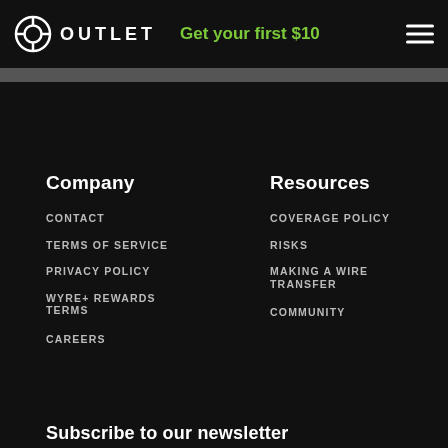OUTLET | Get your first $10
Company
Resources
CONTACT
COVERAGE POLICY
TERMS OF SERVICE
RISKS
PRIVACY POLICY
MAKING A WIRE TRANSFER
WYRE+ REWARDS TERMS
COMMUNITY
CAREERS
Subscribe to our newsletter